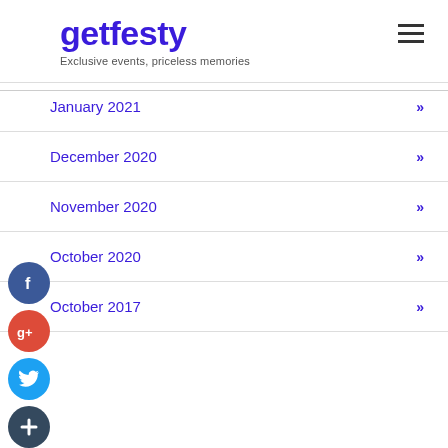getfesty — Exclusive events, priceless memories
January 2021
December 2020
November 2020
October 2020
October 2017
[Figure (other): Social sharing icons: Facebook (blue circle), Google+ (red circle), Twitter (blue circle), Add/share (dark circle)]